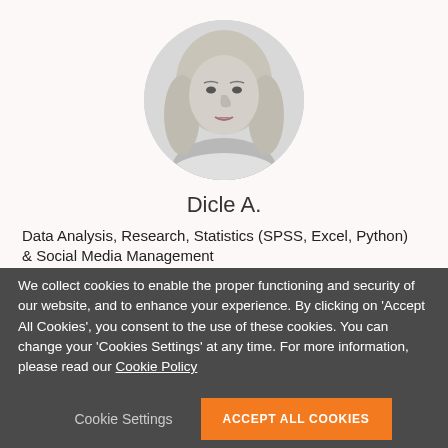[Figure (photo): Circular black-and-white profile photo of a young woman with long straight hair, centered at the top of the page]
Dicle A.
Data Analysis, Research, Statistics (SPSS, Excel, Python) & Social Media Management
We collect cookies to enable the proper functioning and security of our website, and to enhance your experience. By clicking on 'Accept All Cookies', you consent to the use of these cookies. You can change your 'Cookies Settings' at any time. For more information, please read our Cookie Policy
Cookie Settings
ACCEPT ALL COOKIES